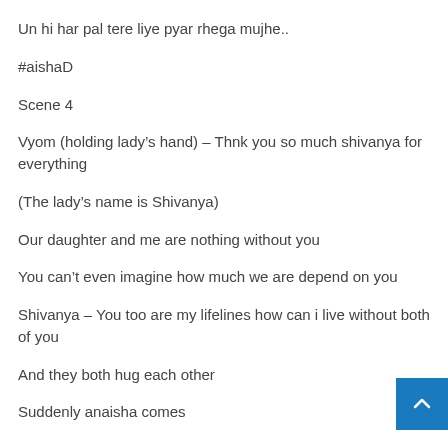Un hi har pal tere liye pyar rhega mujhe..
#aishaD
Scene 4
Vyom (holding lady's hand) – Thnk you so much shivanya for everything
(The lady's name is Shivanya)
Our daughter and me are nothing without you
You can't even imagine how much we are depend on you
Shivanya – You too are my lifelines how can i live without both of you
And they both hug each other
Suddenly anaisha comes